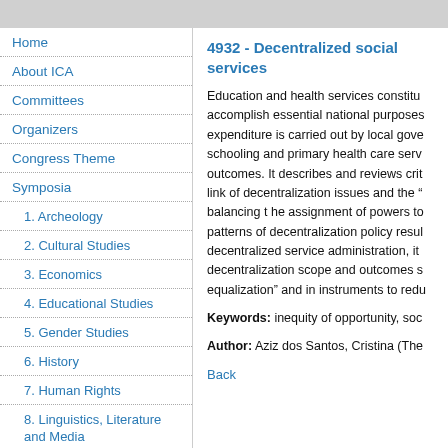Home
About ICA
Committees
Organizers
Congress Theme
Symposia
1. Archeology
2. Cultural Studies
3. Economics
4. Educational Studies
5. Gender Studies
6. History
7. Human Rights
8. Linguistics, Literature and Media
9. Philosophy
10. Biological Anthropology
11. Politics and State Transformation
12. Postocolonial Studies
4932 - Decentralized social services
Education and health services constitu accomplish essential national purposes expenditure is carried out by local gove schooling and primary health care serv outcomes. It describes and reviews crit link of decentralization issues and the “ balancing t he assignment of powers to patterns of decentralization policy resul decentralized service administration, it decentralization scope and outcomes s equalization” and in instruments to redu
Keywords: inequity of opportunity, soc
Author: Aziz dos Santos, Cristina (The
Back